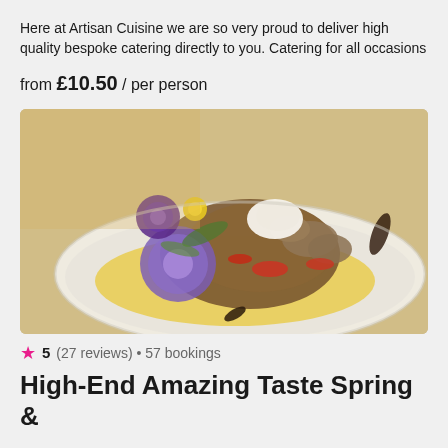Here at Artisan Cuisine we are so very proud to deliver high quality bespoke catering directly to you. Catering for all occasions
from £10.50 / per person
[Figure (photo): A gourmet plated dish of braised meat with mushrooms, red peppers and vegetables, garnished with purple and lavender flowers, served on a white oval plate with a yellow sauce.]
★ 5 (27 reviews) • 57 bookings
High-End Amazing Taste Spring &